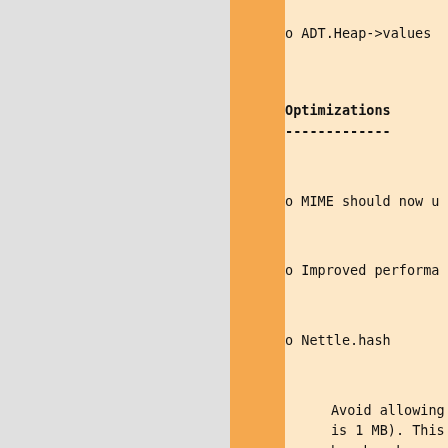o ADT.Heap->values
Optimizations
-------------
o MIME should now u
o Improved performa
o Nettle.hash

  Avoid allowing th
  is 1 MB). This ch
  benchmark on a qu
Deprecations
------------
o The libpq based d
  driver is faster,
  features, does no
Incompatible change
-------------------
o Signal handlers i
  form of an array.